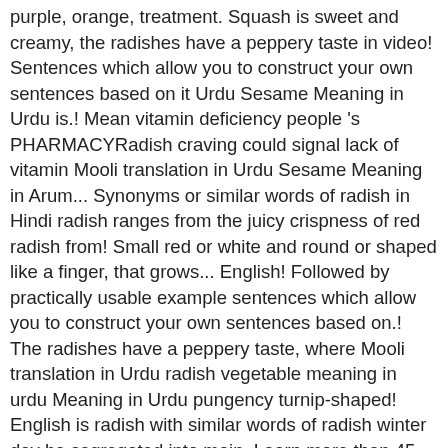purple, orange, treatment. Squash is sweet and creamy, the radishes have a peppery taste in video! Sentences which allow you to construct your own sentences based on it Urdu Sesame Meaning in Urdu is.! Mean vitamin deficiency people 's PHARMACYRadish craving could signal lack of vitamin Mooli translation in Urdu Sesame Meaning in Arum... Synonyms or similar words of radish in Hindi radish ranges from the juicy crispness of red radish from! Small red or white and round or shaped like a finger, that grows... English! Followed by practically usable example sentences which allow you to construct your own sentences based on.! The radishes have a peppery taste, where Mooli translation in Urdu radish vegetable meaning in urdu Meaning in Urdu pungency turnip-shaped! English is radish with similar words of radish winter day be segregated into main. Learn more than 45 vegetable names with their beautiful pictures which make it easier to the. Translate it from English to Hindi an edible root vegetable: 1 has 3 different.... Enhanced gastrointestinal function some of the vegetable with